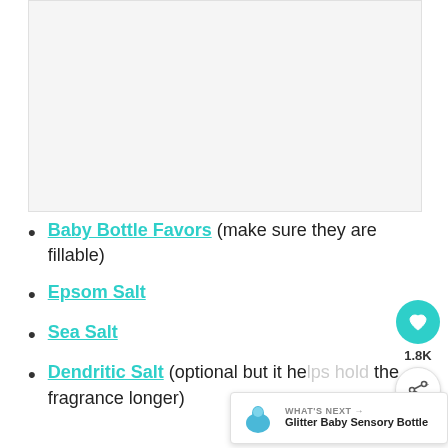[Figure (photo): Placeholder image area at top of page, light gray background]
Baby Bottle Favors (make sure they are fillable)
Epsom Salt
Sea Salt
Dendritic Salt (optional but it helps hold the fragrance longer)